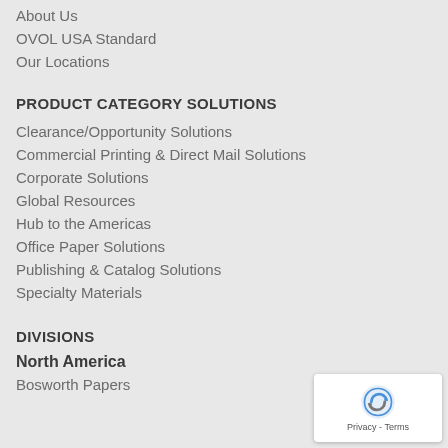About Us
OVOL USA Standard
Our Locations
PRODUCT CATEGORY SOLUTIONS
Clearance/Opportunity Solutions
Commercial Printing & Direct Mail Solutions
Corporate Solutions
Global Resources
Hub to the Americas
Office Paper Solutions
Publishing & Catalog Solutions
Specialty Materials
DIVISIONS
North America
Bosworth Papers